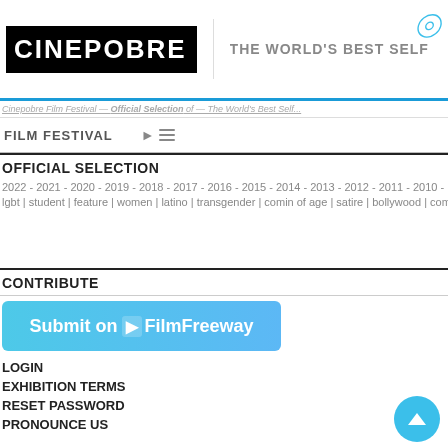CINEPOBRE | THE WORLD'S BEST SELF
Cinepobre Film Festival — Official Selection of The World's Best...
FILM FESTIVAL
OFFICIAL SELECTION
2022 - 2021 - 2020 - 2019 - 2018 - 2017 - 2016 - 2015 - 2014 - 2013 - 2012 - 2011 - 2010 -
lgbt | student | feature | women | latino | transgender | comin of age | satire | bollywood | com
CONTRIBUTE
[Figure (other): Submit on FilmFreeway button - teal/blue gradient button with FilmFreeway logo and text]
LOGIN
EXHIBITION TERMS
RESET PASSWORD
PRONOUNCE US